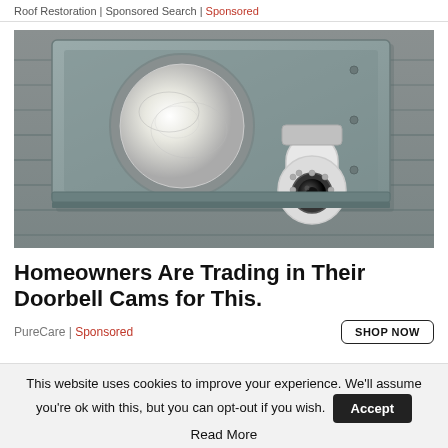Roof Restoration | Sponsored Search | Sponsored
[Figure (photo): A security camera mounted below a porch light fixture on a gray siding exterior wall. The camera is a small white dome-type with a ring of LED lights around the lens.]
Homeowners Are Trading in Their Doorbell Cams for This.
PureCare | Sponsored
SHOP NOW
This website uses cookies to improve your experience. We'll assume you're ok with this, but you can opt-out if you wish.
Accept
Read More